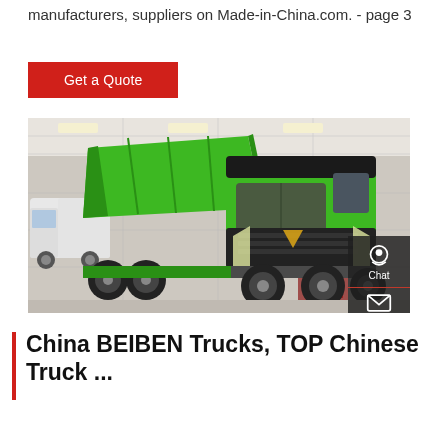manufacturers, suppliers on Made-in-China.com. - page 3
Get a Quote
[Figure (photo): A bright green SINOTRUK heavy dump truck on display at an exhibition hall, with other trucks visible in the background. The truck faces the camera at a slight angle showing its front and side.]
China BEIBEN Trucks, TOP Chinese Truck ...